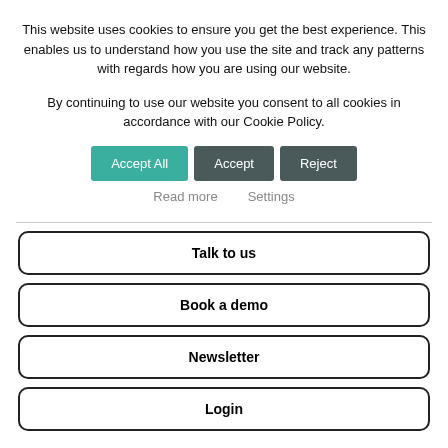This website uses cookies to ensure you get the best experience. This enables us to understand how you use the site and track any patterns with regards how you are using our website.
By continuing to use our website you consent to all cookies in accordance with our Cookie Policy.
Accept All | Accept | Reject
Read more   Settings
Talk to us
Book a demo
Newsletter
Login